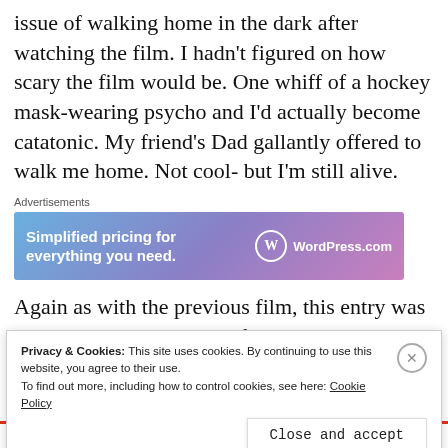issue of walking home in the dark after watching the film. I hadn't figured on how scary the film would be. One whiff of a hockey mask-wearing psycho and I'd actually become catatonic. My friend's Dad gallantly offered to walk me home. Not cool- but I'm still alive.
[Figure (other): WordPress.com advertisement banner: 'Simplified pricing for everything you need.' with WordPress.com logo on gradient blue-purple-pink background]
Again as with the previous film, this entry was cut by the BBFC. As this film was more serious in tone
Privacy & Cookies: This site uses cookies. By continuing to use this website, you agree to their use.
To find out more, including how to control cookies, see here: Cookie Policy
Close and accept